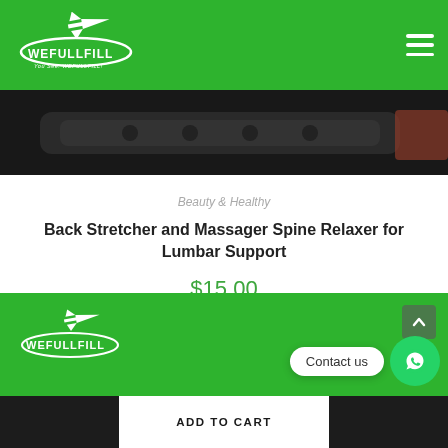[Figure (logo): WeFullFill logo - white airplane and swoosh with text WEFULLFILL on green background]
[Figure (photo): Product image of back stretcher and massager device, dark colored, shown on black background]
Beauty & Healthy
Back Stretcher and Massager Spine Relaxer for Lumbar Support
$15.00
[Figure (logo): WeFullFill logo in white on green footer background]
Contact us
ADD TO CART